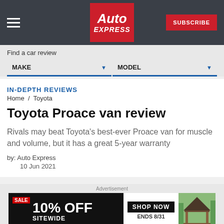Auto Express — SUBSCRIBE
Find a car review
MAKE ▼  MODEL ▼
IN-DEPTH REVIEWS
Home / Toyota
Toyota Proace van review
Rivals may beat Toyota's best-ever Proace van for muscle and volume, but it has a great 5-year warranty
by: Auto Express
10 Jun 2021
[Figure (screenshot): Advertisement banner: SALE 10% OFF SITEWIDE, SHOP NOW ENDS 8/31, BIG TIMBER with gazebo image]